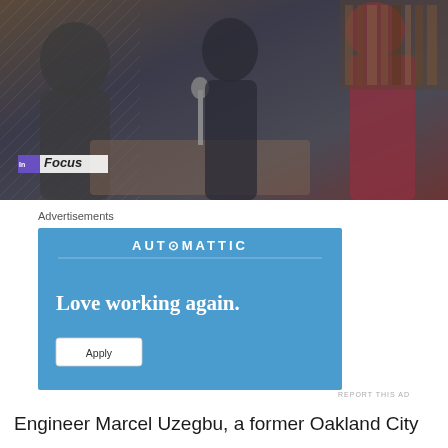[Figure (photo): A blurry/out-of-focus television screenshot showing people seated at what appears to be a council or interview setting. A purple 'In Focus' label overlay is visible in the lower left of the image.]
Advertisements
[Figure (other): Advertisement for Automattic with blue background. Text reads 'AUTOMATTIC' at top, 'Love working again.' as main tagline, and an 'Apply' button below.]
REPORT THIS AD
Engineer Marcel Uzegbu, a former Oakland City